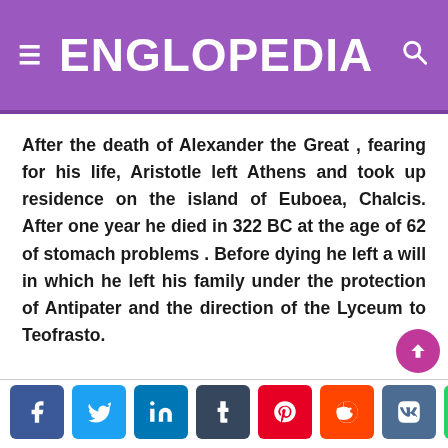ENGLOPEDIA
After the death of Alexander the Great , fearing for his life, Aristotle left Athens and took up residence on the island of Euboea, Chalcis. After one year he died in 322 BC at the age of 62 of stomach problems . Before dying he left a will in which he left his family under the protection of Antipater and the direction of the Lyceum to Teofrasto.
Social share buttons: Facebook, Twitter, LinkedIn, Tumblr, Pinterest, Reddit, VK, WhatsApp